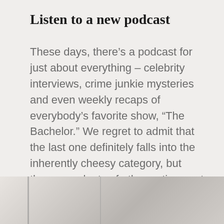Listen to a new podcast
These days, there’s a podcast for just about everything – celebrity interviews, crime junkie mysteries and even weekly recaps of everybody’s favorite show, “The Bachelor.” We regret to admit that the last one definitely falls into the inherently cheesy category, but there are plenty of other options out there .that offer practical tips, inspiring stories or a daily dose of humor to brighten your life
[Figure (photo): A partial photo visible at the bottom of the page showing what appears to be an interior or architectural element with light tones.]